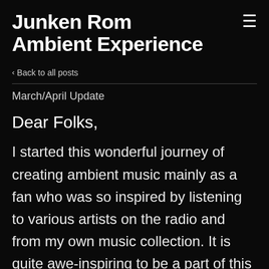Junken Rom Ambient Experience
‹ Back to all posts
March/April Update
Dear Folks,
I started this wonderful journey of creating ambient music mainly as a fan who was so inspired by listening to various artists on the radio and from my own music collection. It is quite awe-inspiring to be a part of this vibrant